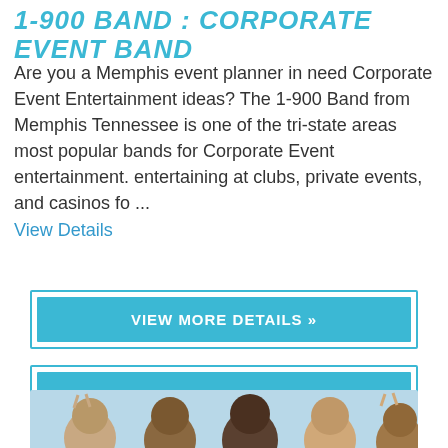1-900 BAND : CORPORATE EVENT BAND
Are you a Memphis event planner in need Corporate Event Entertainment ideas? The 1-900 Band from Memphis Tennessee is one of the tri-state areas most popular bands for Corporate Event entertainment. entertaining at clubs, private events, and casinos fo ...
View Details
VIEW MORE DETAILS »
CHECK AVAILABILITY ON MY DATE »
[Figure (photo): Group photo of band members at the bottom of the page]